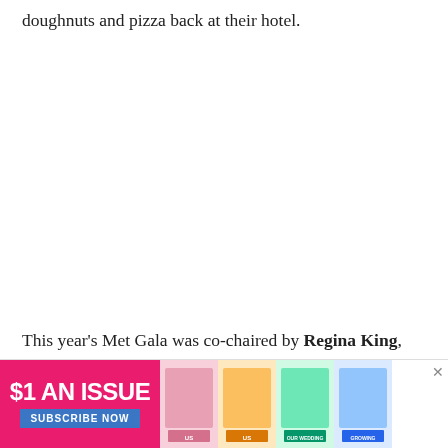doughnuts and pizza back at their hotel.
This year's Met Gala was co-chaired by Regina King, power couple Blake Lively and Ryan Reynolds and Lin-Manuel Miranda. All of the hosts stunned at the charity...
[Figure (other): Advertisement banner: $1 AN ISSUE with SUBSCRIBE NOW button, magazine covers showing celebrity photos]